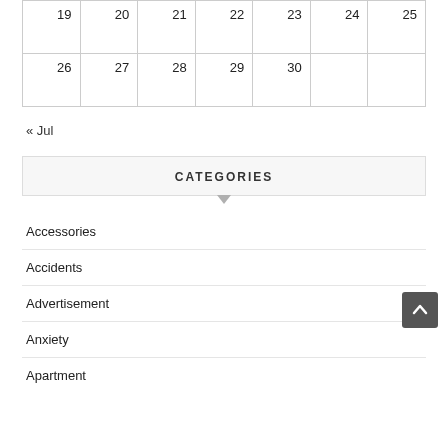| 19 | 20 | 21 | 22 | 23 | 24 | 25 |
| 26 | 27 | 28 | 29 | 30 |  |  |
« Jul
CATEGORIES
Accessories
Accidents
Advertisement
Anxiety
Apartment